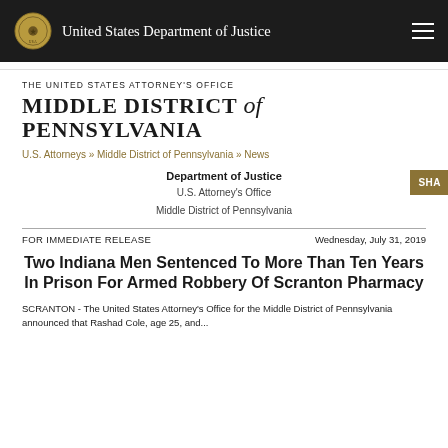United States Department of Justice
THE UNITED STATES ATTORNEY'S OFFICE MIDDLE DISTRICT of PENNSYLVANIA
U.S. Attorneys » Middle District of Pennsylvania » News
Department of Justice
U.S. Attorney's Office
Middle District of Pennsylvania
FOR IMMEDIATE RELEASE
Wednesday, July 31, 2019
Two Indiana Men Sentenced To More Than Ten Years In Prison For Armed Robbery Of Scranton Pharmacy
SCRANTON - The United States Attorney's Office for the Middle District of Pennsylvania announced that Rashad Cole, age 25, and...